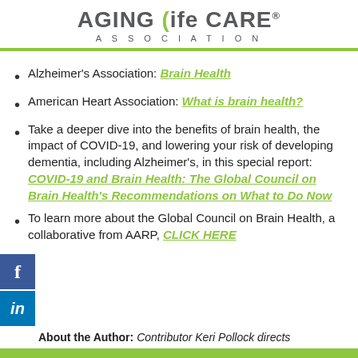[Figure (logo): Aging Life Care Association logo with green parenthesis accent and spaced ASSOCIATION text]
Alzheimer's Association: Brain Health
American Heart Association: What is brain health?
Take a deeper dive into the benefits of brain health, the impact of COVID-19, and lowering your risk of developing dementia, including Alzheimer's, in this special report: COVID-19 and Brain Health: The Global Council on Brain Health's Recommendations on What to Do Now
To learn more about the Global Council on Brain Health, a collaborative from AARP, CLICK HERE
About the Author: Contributor Keri Pollock directs